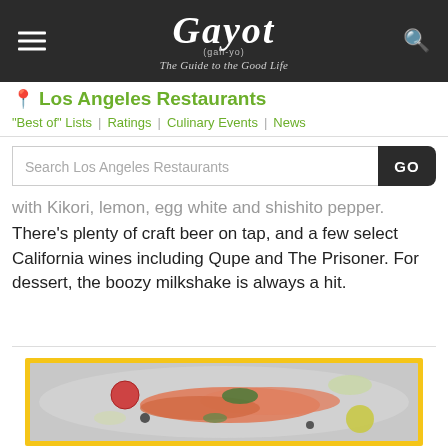[Figure (logo): Gayot logo with script font, tagline 'The Guide to the Good Life', hamburger menu icon on left, search icon on right, all on dark background]
Los Angeles Restaurants
"Best of" Lists | Ratings | Culinary Events | News
Search Los Angeles Restaurants
with Kikori, lemon, egg white and shishito pepper. There's plenty of craft beer on tap, and a few select California wines including Qupe and The Prisoner. For dessert, the boozy milkshake is always a hit.
[Figure (photo): Photo of a salmon sashimi dish on a silver plate with tomato, citrus, fennel and herbs, framed with yellow border]